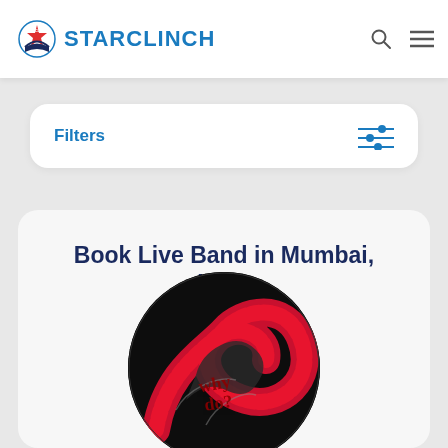STARCLINCH
Filters
Book Live Band in Mumbai, India
[Figure (photo): Circular band logo with a snake and red stylized lettering on black background, partially cropped]